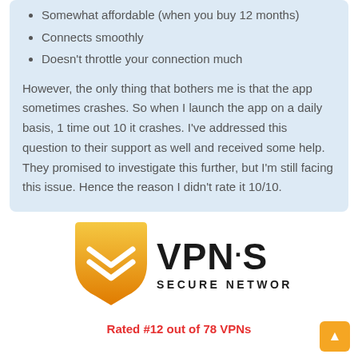Somewhat affordable (when you buy 12 months)
Connects smoothly
Doesn't throttle your connection much
However, the only thing that bothers me is that the app sometimes crashes. So when I launch the app on a daily basis, 1 time out 10 it crashes. I've addressed this question to their support as well and received some help. They promised to investigate this further, but I'm still facing this issue. Hence the reason I didn't rate it 10/10.
[Figure (logo): VPN.S Secure Networks logo with an orange shield containing double chevron marks and bold VPN·S SECURE NETWORKS text]
Rated #12 out of 78 VPNs